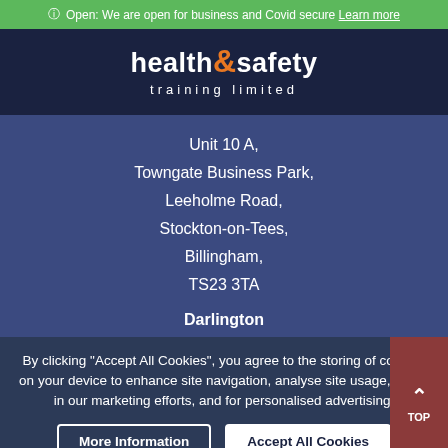ⓘ Open: We are open for business and Covid secure Learn more
[Figure (logo): Health & Safety Training Limited logo with orange ampersand on dark navy background]
Unit 10 A,
Towngate Business Park,
Leeholme Road,
Stockton-on-Tees,
Billingham,
TS23 3TA
Darlington
By clicking "Accept All Cookies", you agree to the storing of cookies on your device to enhance site navigation, analyse site usage, assist in our marketing efforts, and for personalised advertising.
Newcastle (HQ)
Menu | Courses | 0191 917 4460